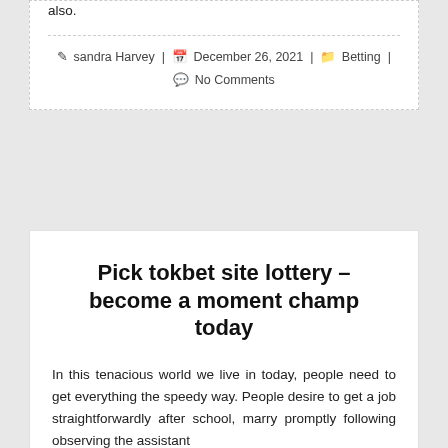also.
sandra Harvey | December 26, 2021 | Betting | No Comments
Pick tokbet site lottery – become a moment champ today
In this tenacious world we live in today, people need to get everything the speedy way. People desire to get a job straightforwardly after school, marry promptly following observing the assistant